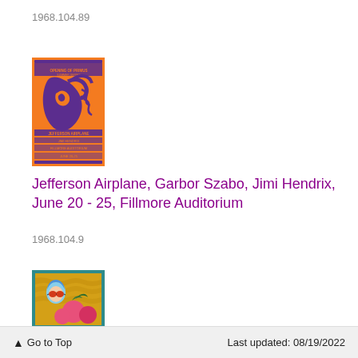1968.104.89
[Figure (illustration): Psychedelic concert poster in orange and purple featuring a swirling cat/bird design. Text reads 'Opening Primus Summer Series' and references Fillmore. Orange background with purple illustrative elements.]
Jefferson Airplane, Garbor Szabo, Jimi Hendrix, June 20 - 25, Fillmore Auditorium
1968.104.9
[Figure (illustration): Psychedelic concert poster showing a woman with blue hair and red sunglasses against a golden background with fruit (peaches/apples) and green leaves. Teal border frame.]